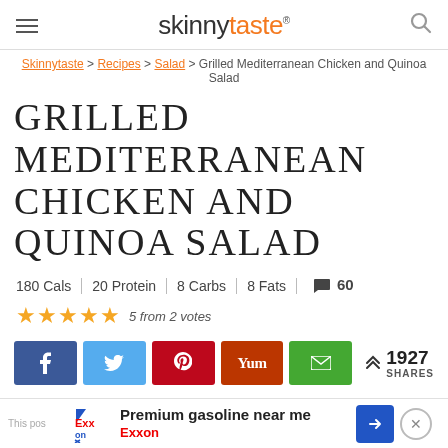skinnytaste
Skinnytaste > Recipes > Salad > Grilled Mediterranean Chicken and Quinoa Salad
GRILLED MEDITERRANEAN CHICKEN AND QUINOA SALAD
180 Cals | 20 Protein | 8 Carbs | 8 Fats | 60
5 from 2 votes
1927 SHARES
JUMP TO RECIPE
Premium gasoline near me Exxon